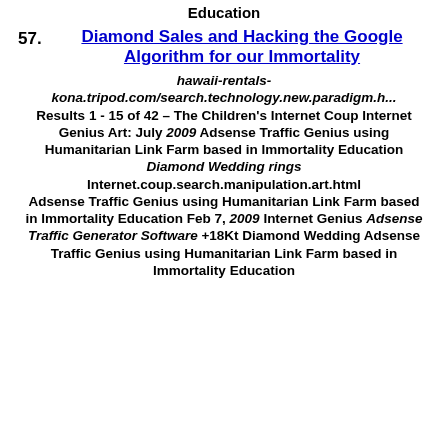Education
57. Diamond Sales and Hacking the Google Algorithm for our Immortality
hawaii-rentals-kona.tripod.com/search.technology.new.paradigm.h... Results 1 - 15 of 42 – The Children's Internet Coup Internet Genius Art: July 2009 Adsense Traffic Genius using Humanitarian Link Farm based in Immortality Education Diamond Wedding rings Internet.coup.search.manipulation.art.html Adsense Traffic Genius using Humanitarian Link Farm based in Immortality Education Feb 7, 2009 Internet Genius Adsense Traffic Generator Software +18Kt Diamond Wedding Adsense Traffic Genius using Humanitarian Link Farm based in Immortality Education